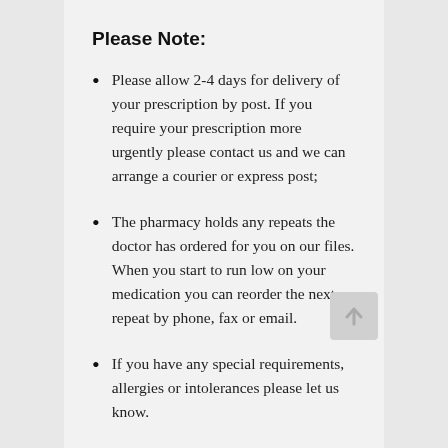Please Note:
Please allow 2-4 days for delivery of your prescription by post. If you require your prescription more urgently please contact us and we can arrange a courier or express post;
The pharmacy holds any repeats the doctor has ordered for you on our files. When you start to run low on your medication you can reorder the next repeat by phone, fax or email.
If you have any special requirements, allergies or intolerances please let us know.